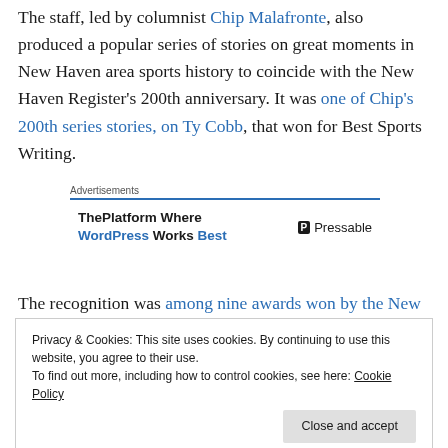The staff, led by columnist Chip Malafronte, also produced a popular series of stories on great moments in New Haven area sports history to coincide with the New Haven Register's 200th anniversary. It was one of Chip's 200th series stories, on Ty Cobb, that won for Best Sports Writing.
[Figure (other): Advertisement box: 'Advertisements' label with blue underline, ThePlatform Where WordPress Works Best | Pressable ad]
The recognition was among nine awards won by the New Haven Register
Privacy & Cookies: This site uses cookies. By continuing to use this website, you agree to their use. To find out more, including how to control cookies, see here: Cookie Policy
The Register won first place for Best Breaking News Story